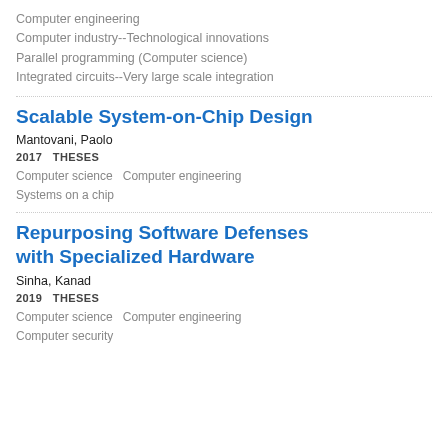Computer engineering
Computer industry--Technological innovations
Parallel programming (Computer science)
Integrated circuits--Very large scale integration
Scalable System-on-Chip Design
Mantovani, Paolo
2017   THESES
Computer science   Computer engineering
Systems on a chip
Repurposing Software Defenses with Specialized Hardware
Sinha, Kanad
2019   THESES
Computer science   Computer engineering
Computer security